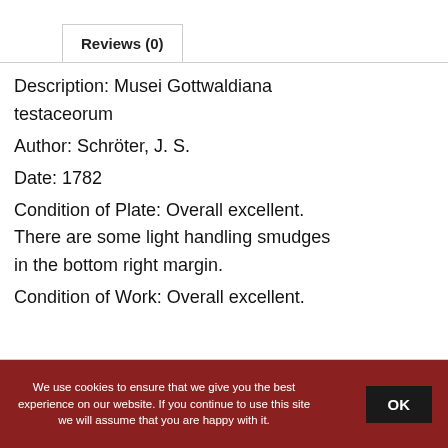Reviews (0)
Description: Musei Gottwaldiana testaceorum
Author: Schröter, J. S.
Date: 1782
Condition of Plate: Overall excellent. There are some light handling smudges in the bottom right margin.
Condition of Work: Overall excellent.
We use cookies to ensure that we give you the best experience on our website. If you continue to use this site we will assume that you are happy with it.